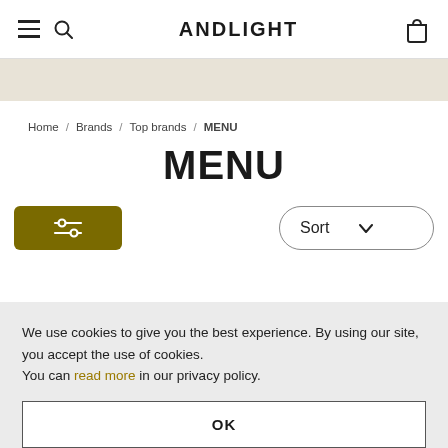ANDLIGHT
Home / Brands / Top brands / MENU
MENU
[Figure (other): Filter button with sliders icon (dark yellow/olive background) and Sort dropdown button with chevron]
We use cookies to give you the best experience. By using our site, you accept the use of cookies. You can read more in our privacy policy.
OK